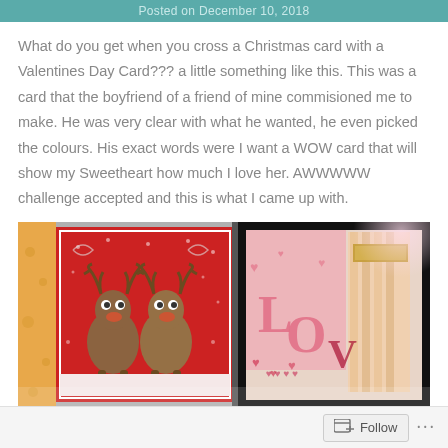Posted on December 10, 2018
What do you get when you cross a Christmas card with a Valentines Day Card??? a little something like this. This was a card that the boyfriend of a friend of mine commisioned me to make. He was very clear with what he wanted, he even picked the colours. His exact words were I want a WOW card that will show my Sweetheart how much I love her. AWWWWW challenge accepted and this is what I came up with.
[Figure (photo): Two-panel photo of handmade Christmas/Valentine cards. Left panel shows a red card with two cute cartoon reindeer. Right panel shows a pop-up card with 'LOVE' letters in pink and red with heart motifs.]
Follow ...